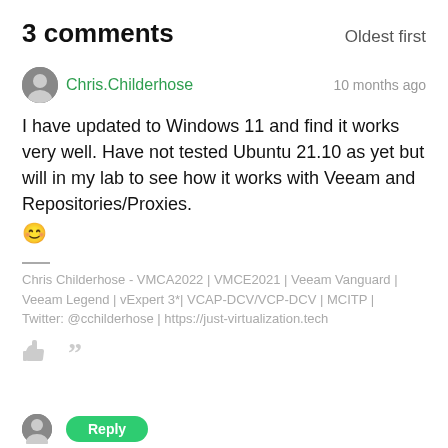3 comments
Oldest first
Chris.Childerhose
10 months ago
I have updated to Windows 11 and find it works very well. Have not tested Ubuntu 21.10 as yet but will in my lab to see how it works with Veeam and Repositories/Proxies. 😀
Chris Childerhose - VMCA2022 | VMCE2021 | Veeam Vanguard | Veeam Legend | vExpert 3*| VCAP-DCV/VCP-DCV | MCITP | Twitter: @cchilderhose | https://just-virtualization.tech